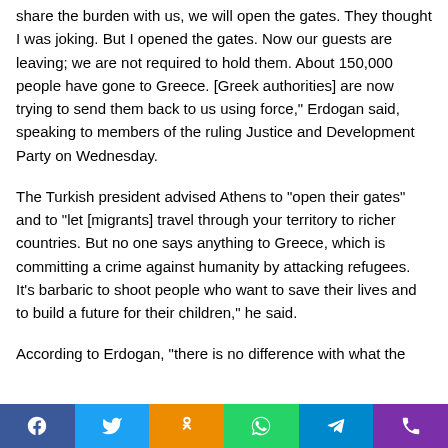share the burden with us, we will open the gates. They thought I was joking. But I opened the gates. Now our guests are leaving; we are not required to hold them. About 150,000 people have gone to Greece. [Greek authorities] are now trying to send them back to us using force," Erdogan said, speaking to members of the ruling Justice and Development Party on Wednesday.
The Turkish president advised Athens to “open their gates” and to “let [migrants] travel through your territory to richer countries. But no one says anything to Greece, which is committing a crime against humanity by attacking refugees. It’s barbaric to shoot people who want to save their lives and to build a future for their children,” he said.
According to Erdogan, “there is no difference with what the
social share bar